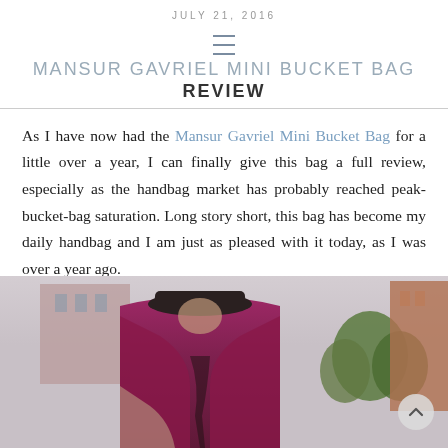JULY 21, 2016
MANSUR GAVRIEL MINI BUCKET BAG REVIEW
As I have now had the Mansur Gavriel Mini Bucket Bag for a little over a year, I can finally give this bag a full review, especially as the handbag market has probably reached peak-bucket-bag saturation. Long story short, this bag has become my daily handbag and I am just as pleased with it today, as I was over a year ago.
[Figure (photo): Person wearing a dark magenta/burgundy jacket or cardigan, holding a bag, photographed outdoors with trees and buildings in the background.]